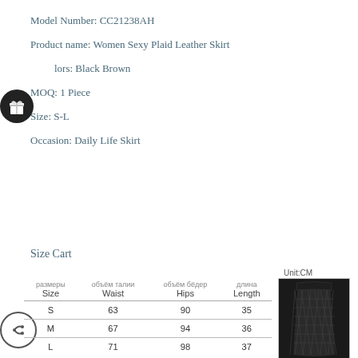Model Number: CC21238AH
Product name: Women Sexy Plaid Leather Skirt
Colors: Black Brown
MOQ: 1 Piece
Size: S-L
Occasion: Daily Life Skirt
Size Cart
Unit:CM
| размеры
Size | объём талии
Waist | объём бёдер
Hips | длина
Length |
| --- | --- | --- | --- |
| S | 63 | 90 | 35 |
| M | 67 | 94 | 36 |
| L | 71 | 98 | 37 |
[Figure (photo): Black quilted leather skirt product photo]